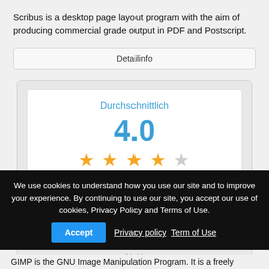Scribus is a desktop page layout program with the aim of producing commercial grade output in PDF and Postscript.
Detailinfo
[Figure (infographic): Rating card showing 'Durchschnittlich' (Average), score 4.0, four filled stars and one empty star, '2 Insgesamt' (2 Total), a green Download button, and update info: Letztes Update: 2014-05-30 21:11]
We use cookies to understand how you use our site and to improve your experience. By continuing to use our site, you accept our use of cookies, Privacy Policy and Terms of Use.
Accept   Privacy policy  Term of Use
GIMP is the GNU Image Manipulation Program. It is a freely